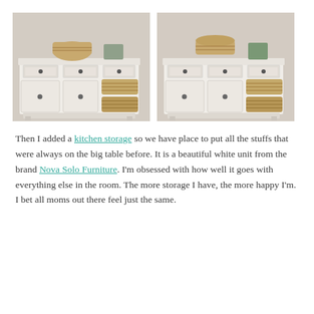[Figure (photo): Two side-by-side photos of a white kitchen storage unit by Nova Solo Furniture with wicker baskets and drawers on a light stone background.]
Then I added a kitchen storage so we have place to put all the stuffs that were always on the big table before. It is a beautiful white unit from the brand Nova Solo Furniture. I'm obsessed with how well it goes with everything else in the room. The more storage I have, the more happy I'm. I bet all moms out there feel just the same.